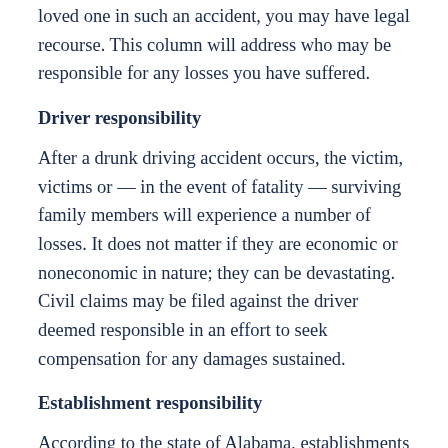loved one in such an accident, you may have legal recourse. This column will address who may be responsible for any losses you have suffered.
Driver responsibility
After a drunk driving accident occurs, the victim, victims or — in the event of fatality — surviving family members will experience a number of losses. It does not matter if they are economic or noneconomic in nature; they can be devastating. Civil claims may be filed against the driver deemed responsible in an effort to seek compensation for any damages sustained.
Establishment responsibility
According to the state of Alabama, establishments that serve or sell alcohol could also face charges if their patrons cause DUI-related auto accidents. This is